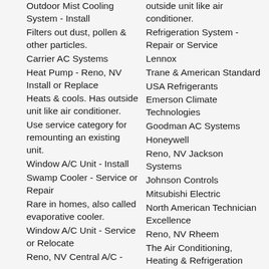Outdoor Mist Cooling System - Install
Filters out dust, pollen & other particles.
Carrier AC Systems
Heat Pump - Reno, NV Install or Replace
Heats & cools. Has outside unit like air conditioner.
Use service category for remounting an existing unit.
Window A/C Unit - Install
Swamp Cooler - Service or Repair
Rare in homes, also called evaporative cooler.
Window A/C Unit - Service or Relocate
Reno, NV Central A/C -
outside unit like air conditioner.
Refrigeration System - Repair or Service
Lennox
Trane & American Standard
USA Refrigerants
Emerson Climate Technologies
Goodman AC Systems
Honeywell
Reno, NV Jackson Systems
Johnson Controls
Mitsubishi Electric
North American Technician Excellence
Reno, NV Rheem
The Air Conditioning, Heating & Refrigeration NEWS